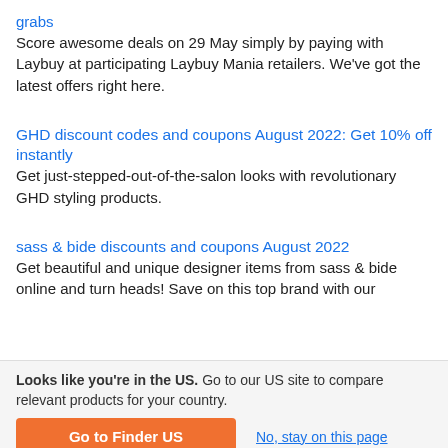grabs
Score awesome deals on 29 May simply by paying with Laybuy at participating Laybuy Mania retailers. We've got the latest offers right here.
GHD discount codes and coupons August 2022: Get 10% off instantly
Get just-stepped-out-of-the-salon looks with revolutionary GHD styling products.
sass & bide discounts and coupons August 2022
Get beautiful and unique designer items from sass & bide online and turn heads! Save on this top brand with our
Looks like you're in the US. Go to our US site to compare relevant products for your country.
Go to Finder US
No, stay on this page